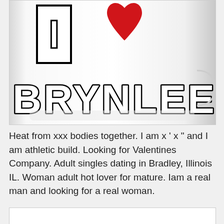[Figure (photo): Cropped photo of an 'I Love BRYNLEE' mug on white background. Shows partial letter I in outlined block font, a red heart shape, and the word BRYNLEE in bold outlined block letters below. The mug is white with a slight shadow/reflection effect.]
Heat from xxx bodies together. I am x ' x " and I am athletic build. Looking for Valentines Company. Adult singles dating in Bradley, Illinois IL. Woman adult hot lover for mature. Iam a real man and looking for a real woman.
[Figure (photo): Bottom portion of another product image, mostly white/blank, partially visible at bottom of page.]